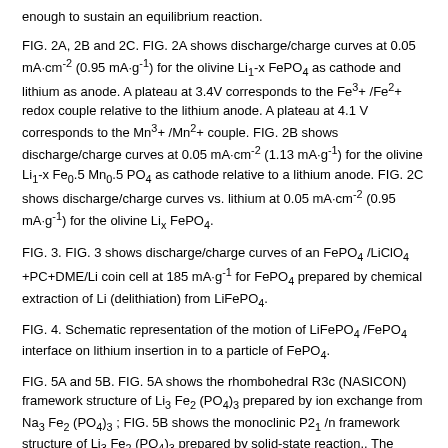enough to sustain an equilibrium reaction.
FIG. 2A, 2B and 2C. FIG. 2A shows discharge/charge curves at 0.05 mA·cm⁻² (0.95 mA·g⁻¹) for the olivine Li₁-x FePO₄ as cathode and lithium as anode. A plateau at 3.4V corresponds to the Fe³+ /Fe²+ redox couple relative to the lithium anode. A plateau at 4.1 V corresponds to the Mn³+ /Mn²+ couple. FIG. 2B shows discharge/charge curves at 0.05 mA·cm⁻² (1.13 mA·g⁻¹) for the olivine Li₁-x Fe₀.5 Mn₀.5 PO₄ as cathode relative to a lithium anode. FIG. 2C shows discharge/charge curves vs. lithium at 0.05 mA·cm⁻² (0.95 mA·g⁻¹) for the olivine Liₓ FePO₄.
FIG. 3. FIG. 3 shows discharge/charge curves of an FePO₄ /LiClO₄ +PC+DME/Li coin cell at 185 mA·g⁻¹ for FePO₄ prepared by chemical extraction of Li (delithiation) from LiFePO₄.
FIG. 4. Schematic representation of the motion of LiFePO₄ /FePO₄ interface on lithium insertion in to a particle of FePO₄.
FIG. 5A and 5B. FIG. 5A shows the rhombohedral R3c (NASICON) framework structure of Li₃ Fe₂ (PO₄)₃ prepared by ion exchange from Na₃ Fe₂ (PO₄)₃ ; FIG. 5B shows the monoclinic P2₁ /n framework structure of Li₃ Fe₂ (PO₄)₃ prepared by solid-state reaction.. The large, open three-dimensional framework of FeO₆ octahedra and PO₄ tetrahedra allows an easy diffusion of the lithium ions.